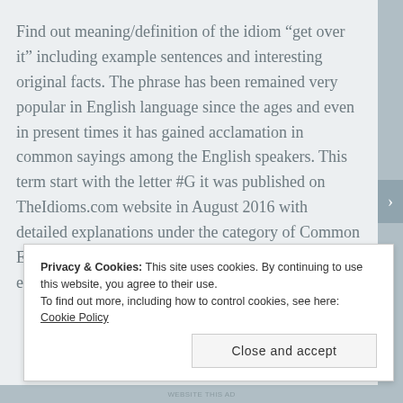Find out meaning/definition of the idiom “get over it” including example sentences and interesting original facts. The phrase has been remained very popular in English language since the ages and even in present times it has gained acclamation in common sayings among the English speakers. This term start with the letter #G it was published on TheIdioms.com website in August 2016 with detailed explanations under the category of Common English Sayings and Idioms. This idiomatic expressions is related to #Over
Privacy & Cookies: This site uses cookies. By continuing to use this website, you agree to their use.
To find out more, including how to control cookies, see here: Cookie Policy
Close and accept